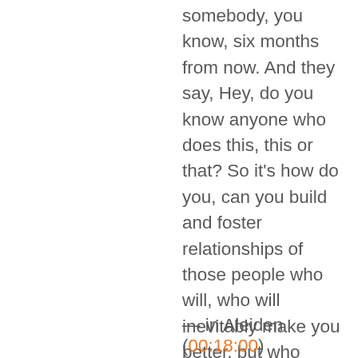somebody, you know, six months from now. And they say, Hey, do you know anyone who does this, this or that? So it's how do you, can you build and foster relationships of those people who will, who will inevitably make you better, but who you're not asking them like, Hey, you hire me or do this. Like, it's just challenged me to be better than I am today to learn, to grow, to get out of my comfort zone. Like those are the types of people you want surrounding you, because that's going to make you better.
— in Aleiden (00:18:00)